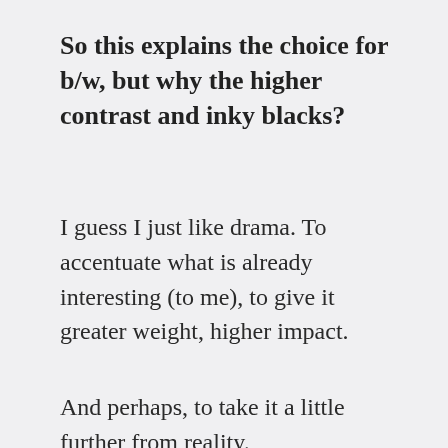So this explains the choice for b/w, but why the higher contrast and inky blacks?
I guess I just like drama. To accentuate what is already interesting (to me), to give it greater weight, higher impact.
And perhaps, to take it a little further from reality.